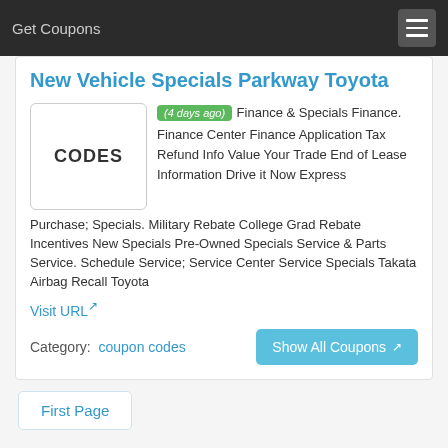Get Coupons
New Vehicle Specials Parkway Toyota
(4 days ago) Finance & Specials Finance. Finance Center Finance Application Tax Refund Info Value Your Trade End of Lease Information Drive it Now Express Purchase; Specials. Military Rebate College Grad Rebate Incentives New Specials Pre-Owned Specials Service & Parts Service. Schedule Service; Service Center Service Specials Takata Airbag Recall Toyota
Visit URL
Category: coupon codes
Show All Coupons
First Page